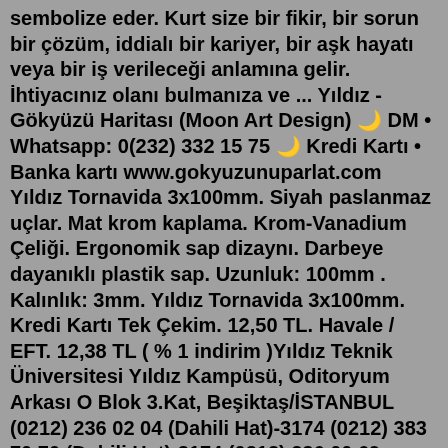sembolize eder. Kurt size bir fikir, bir sorun bir çözüm, iddialı bir kariyer, bir aşk hayatı veya bir iş verileceği anlamına gelir. İhtiyacınız olanı bulmanıza ve ... Yıldız - Gökyüzü Haritası (Moon Art Design) 🌙 DM • Whatsapp: 0(232) 332 15 75 🌙 Kredi Kartı • Banka kartı www.gokyuzunuparlat.com Yıldız Tornavida 3x100mm. Siyah paslanmaz uçlar. Mat krom kaplama. Krom-Vanadium Çeliği. Ergonomik sap dizaynı. Darbeye dayanıklı plastik sap. Uzunluk: 100mm . Kalınlık: 3mm. Yıldız Tornavida 3x100mm. Kredi Kartı Tek Çekim. 12,50 TL. Havale / EFT. 12,38 TL ( % 1 indirim )Yıldız Teknik Üniversitesi Yıldız Kampüsü, Oditoryum Arkası O Blok 3.Kat, Beşiktaş/İSTANBUL (0212) 236 02 04 (Dahili Hat)-3174 (0212) 383 70 70 (Dahili Hat)-3174 (0212) 236 00 69 (0532) 586 05 46. info@ytumed.org.trYıldız Kız. 2020 | GENEL İZLEYİCİ | 4 Sezon | Çocuk Dizileri. Farklı farklı kötü adamlar ortaya çıktığında 8 yaşındaki Zoey, minik süper kahraman Yıldız Kız'a dönüşme gücüne sahiptir. Günü kurtarmak, onun her gün yaptığı bir şeydir! Başroldekiler: Nahanni